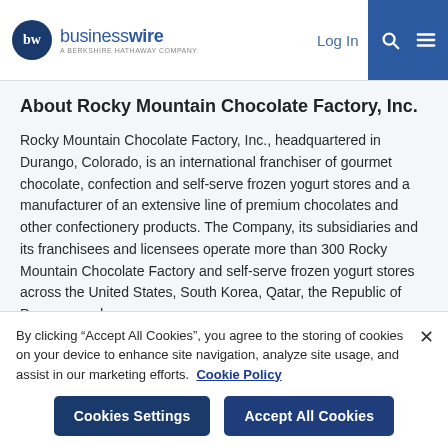businesswire — A BERKSHIRE HATHAWAY COMPANY | Log In | Sign Up
About Rocky Mountain Chocolate Factory, Inc.
Rocky Mountain Chocolate Factory, Inc., headquartered in Durango, Colorado, is an international franchiser of gourmet chocolate, confection and self-serve frozen yogurt stores and a manufacturer of an extensive line of premium chocolates and other confectionery products. The Company, its subsidiaries and its franchisees and licensees operate more than 300 Rocky Mountain Chocolate Factory and self-serve frozen yogurt stores across the United States, South Korea, Qatar, the Republic of Panama, and
By clicking “Accept All Cookies”, you agree to the storing of cookies on your device to enhance site navigation, analyze site usage, and assist in our marketing efforts. Cookie Policy
Cookies Settings | Accept All Cookies